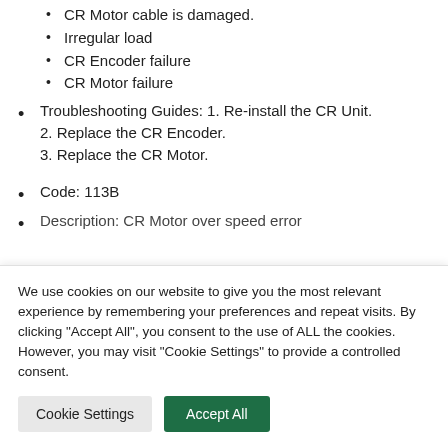CR Motor cable is damaged.
Irregular load
CR Encoder failure
CR Motor failure
Troubleshooting Guides: 1. Re-install the CR Unit. 2. Replace the CR Encoder. 3. Replace the CR Motor.
Code: 113B
Description: CR Motor over speed error
We use cookies on our website to give you the most relevant experience by remembering your preferences and repeat visits. By clicking "Accept All", you consent to the use of ALL the cookies. However, you may visit "Cookie Settings" to provide a controlled consent.